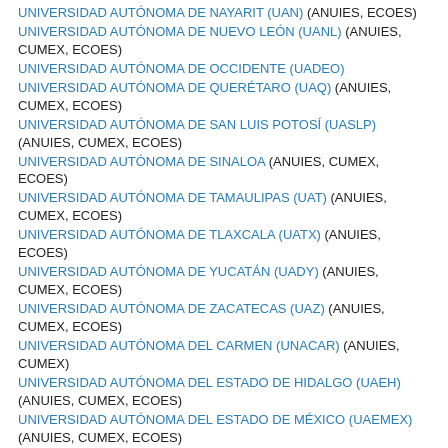UNIVERSIDAD AUTÓNOMA DE NAYARIT (UAN) (ANUIES, ECOES)
UNIVERSIDAD AUTÓNOMA DE NUEVO LEÓN (UANL) (ANUIES, CUMEX, ECOES)
UNIVERSIDAD AUTÓNOMA DE OCCIDENTE (UADEO)
UNIVERSIDAD AUTÓNOMA DE QUERÉTARO (UAQ) (ANUIES, CUMEX, ECOES)
UNIVERSIDAD AUTÓNOMA DE SAN LUIS POTOSÍ (UASLP) (ANUIES, CUMEX, ECOES)
UNIVERSIDAD AUTÓNOMA DE SINALOA (ANUIES, CUMEX, ECOES)
UNIVERSIDAD AUTÓNOMA DE TAMAULIPAS (UAT) (ANUIES, CUMEX, ECOES)
UNIVERSIDAD AUTÓNOMA DE TLAXCALA (UATX) (ANUIES, ECOES)
UNIVERSIDAD AUTÓNOMA DE YUCATÁN (UADY) (ANUIES, CUMEX, ECOES)
UNIVERSIDAD AUTÓNOMA DE ZACATECAS (UAZ) (ANUIES, CUMEX, ECOES)
UNIVERSIDAD AUTÓNOMA DEL CARMEN (UNACAR) (ANUIES, CUMEX)
UNIVERSIDAD AUTÓNOMA DEL ESTADO DE HIDALGO (UAEH) (ANUIES, CUMEX, ECOES)
UNIVERSIDAD AUTÓNOMA DEL ESTADO DE MÉXICO (UAEMEX) (ANUIES, CUMEX, ECOES)
UNIVERSIDAD AUTÓNOMA DEL ESTADO DE MORELOS (ANUIES, ECOES)
UNIVERSIDAD AUTÓNOMA METROPOLITANA (UAM) (ANUIES, ECOES)
UNIVERSIDAD DE CIENCIAS Y ARTES DE CHIAPAS (UNICACH) (ECOES)